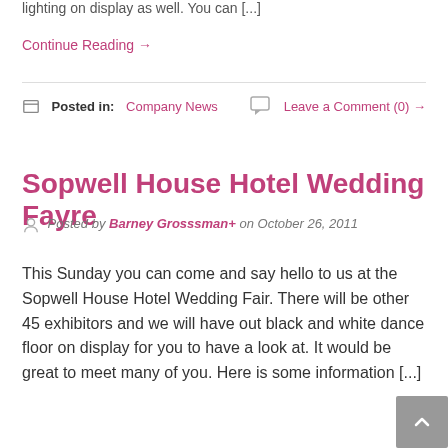lighting on display as well. You can [...]
Continue Reading →
Posted in: Company News   Leave a Comment (0) →
Sopwell House Hotel Wedding Fayre
Posted by Barney Grosssman+ on October 26, 2011
This Sunday you can come and say hello to us at the Sopwell House Hotel Wedding Fair. There will be other 45 exhibitors and we will have out black and white dance floor on display for you to have a look at. It would be great to meet many of you. Here is some information [...]